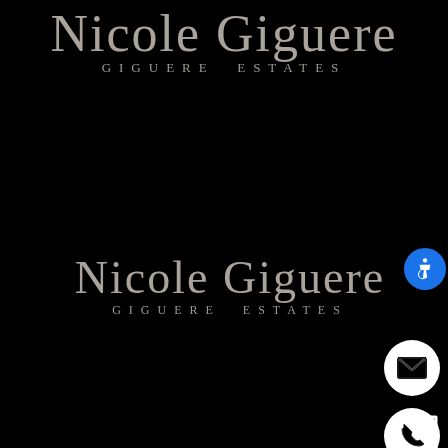[Figure (logo): Giguere Estates script logo at top of page — cursive signature 'Nicole Giguere' above spaced text 'GIGUERE ESTATES' on black background]
[Figure (logo): Giguere Estates script logo repeated in middle of page — cursive 'Nicole Giguere' above spaced text 'GIGUERE ESTATES' on black background]
[Figure (other): Blue circular accessibility (wheelchair) icon button on right side]
[Figure (other): White circular email envelope icon button on right side]
[Figure (other): White circular phone/handset icon button on right side]
[Figure (other): White expand/fullscreen corner bracket icon at bottom right]